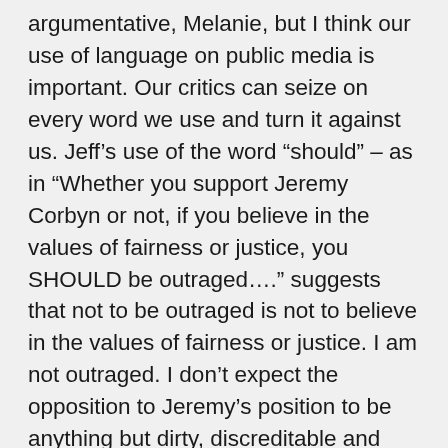argumentative, Melanie, but I think our use of language on public media is important. Our critics can seize on every word we use and turn it against us. Jeff’s use of the word “should” – as in “Whether you support Jeremy Corbyn or not, if you believe in the values of fairness or justice, you SHOULD be outraged….” suggests that not to be outraged is not to believe in the values of fairness or justice. I am not outraged. I don’t expect the opposition to Jeremy’s position to be anything but dirty, discreditable and unfair. In my long life as a socialist and an activist I have come to expect it, but I am not resigned to it. It’s what they do. But I don’t rise to that kind of